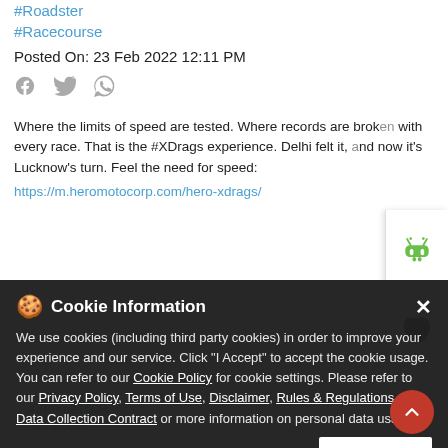#Roadster
#Racecourse
Posted On: 23 Feb 2022 12:11 PM
[Figure (infographic): Social share icons: Facebook, Twitter, WhatsApp]
Where the limits of speed are tested. Where records are broken with every race. That is the #XDrags experience. Delhi felt it, and now it's Lucknow's turn. Feel the need for speed:
https://m.heromotocorp.com/hero-xdrags/
#GoBoomInStealthMode #Xtreme160R #GoBoom #StealthMode #HeroMotoCorp #DragRace #Race #StreetRace #XDrags
#GoBoomInStealthMode
#Xtreme160R
#GoBoom
[Figure (infographic): Cookie Information overlay with accept button]
Cookie Information
We use cookies (including third party cookies) in order to improve your experience and our service. Click "I Accept" to accept the cookie usage. You can refer to our Cookie Policy for cookie settings. Please refer to our Privacy Policy, Terms of Use, Disclaimer, Rules & Regulations and Data Collection Contract or more information on personal data usage.